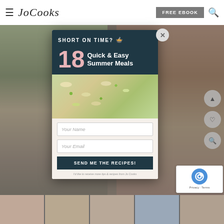Jo Cooks | FREE EBOOK
[Figure (screenshot): Website screenshot of JoCooks.com showing a popup modal over food photography background]
SHORT ON TIME? 18 Quick & Easy Summer Meals
Your Name
Your Email
SEND ME THE RECIPES!
I'd like to receive more tips & recipes from Jo Cooks